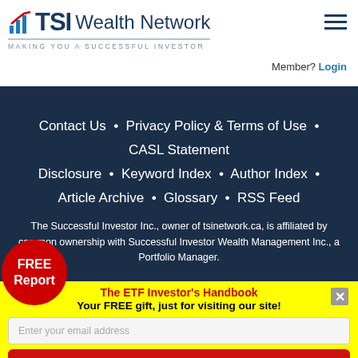[Figure (logo): TSI Wealth Network logo with bar chart icon and tagline 'Making You a Successful Investor']
Member? Login
Contact Us • Privacy Policy & Terms of Use • CASL Statement
Disclosure • Keyword Index • Author Index •
Article Archive • Glossary • RSS Feed
The Successful Investor Inc., owner of tsinetwork.ca, is affiliated by common ownership with Successful Investor Wealth Management Inc., a Portfolio Manager.
[Figure (other): Red circular FREE Report badge]
The ETF Investor's Handbook
Your FREE gift, just for visiting our site!
Enter your email address
GET YOUR FREE REPORT NOW »